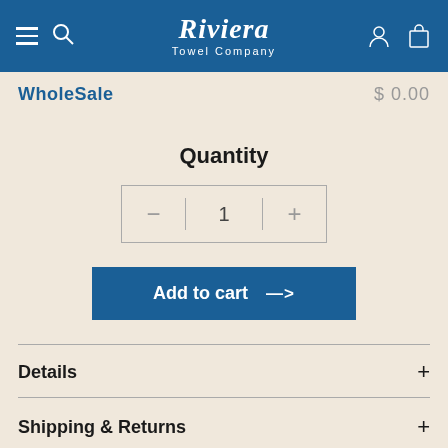Riviera Towel Company
WholeSale   $ 0.00
Quantity
1
Add to cart →
Details +
Shipping & Returns +